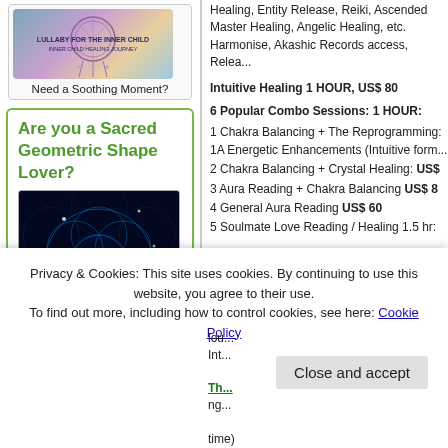[Figure (illustration): Lullaby for the Inner Child dreamcatcher themed book/album cover with decorative feathers and circular design]
Need a Soothing Moment?
Are you a Sacred Geometric Shape Lover?
[Figure (photo): Flower of Life sacred geometry glowing blue pattern with a silhouette of a person standing at the center]
Healing, Entity Release, Reiki, Ascended Master Healing, Angelic Healing, etc. Harmonise, Akashic Records access, Relea...
Intuitive Healing 1 HOUR, US$ 80
6 Popular Combo Sessions: 1 HOUR:
1 Chakra Balancing + The Reprogramming: 1A Energetic Enhancements (Intuitive form
2 Chakra Balancing + Crystal Healing: US$
3 Aura Reading + Chakra Balancing US$ 8
4 General Aura Reading US$ 60
5 Soulmate Love Reading / Healing 1.5 hr:
THE REPROGRAMMING™ – Deep Transfo... talking process with a transformation ac... you to the core issue and helps you relea...
'SIGNATURE SESSION' HEALING:
Privacy & Cookies: This site uses cookies. By continuing to use this website, you agree to their use.
To find out more, including how to control cookies, see here: Cookie Policy
Close and accept
Th... ng... time)